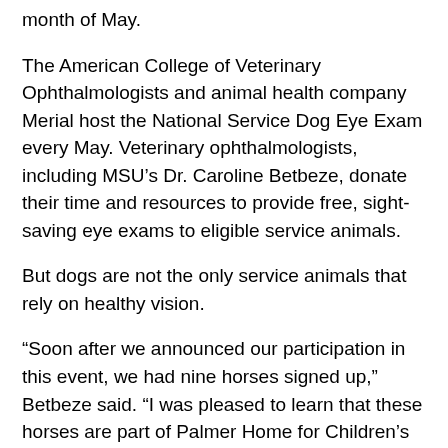month of May.
The American College of Veterinary Ophthalmologists and animal health company Merial host the National Service Dog Eye Exam every May. Veterinary ophthalmologists, including MSU's Dr. Caroline Betbeze, donate their time and resources to provide free, sight-saving eye exams to eligible service animals.
But dogs are not the only service animals that rely on healthy vision.
“Soon after we announced our participation in this event, we had nine horses signed up,” Betbeze said. “I was pleased to learn that these horses are part of Palmer Home for Children’s therapeutic riding program. Palmer Home is close to MSU. Examining the horses is not only good for their health, but also provides a learning opportunity for our students.”